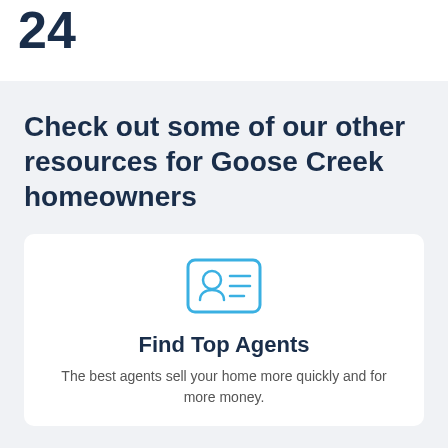24
Check out some of our other resources for Goose Creek homeowners
[Figure (illustration): Icon of a person ID card with a circular avatar on the left and horizontal lines on the right, rendered in blue outline style]
Find Top Agents
The best agents sell your home more quickly and for more money.